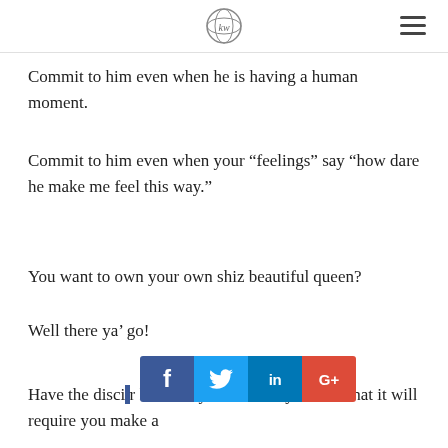[KW logo] [menu icon]
Commit to him even when he is having a human moment.
Commit to him even when your “feelings” say “how dare he make me feel this way.”
You want to own your own shiz beautiful queen?
Well there ya’ go!
Have the disci[pline to protect your love story and actually realize that it will require you make a
[Figure (other): Social sharing bar with Facebook, Twitter, LinkedIn, and Google+ buttons]